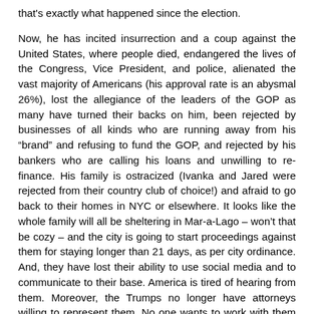that's exactly what happened since the election.
Now, he has incited insurrection and a coup against the United States, where people died, endangered the lives of the Congress, Vice President, and police, alienated the vast majority of Americans (his approval rate is an abysmal 26%), lost the allegiance of the leaders of the GOP as many have turned their backs on him, been rejected by businesses of all kinds who are running away from his “brand” and refusing to fund the GOP, and rejected by his bankers who are calling his loans and unwilling to re-finance. His family is ostracized (Ivanka and Jared were rejected from their country club of choice!) and afraid to go back to their homes in NYC or elsewhere. It looks like the whole family will all be sheltering in Mar-a-Lago – won’t that be cozy – and the city is going to start proceedings against them for staying longer than 21 days, as per city ordinance. And, they have lost their ability to use social media and to communicate to their base. America is tired of hearing from them. Moreover, the Trumps no longer have attorneys willing to represent them. No one wants to work with them anymore.
Their political, financial, legal and social futures look dim, and they are isolated simply because Trump could not contain himself and